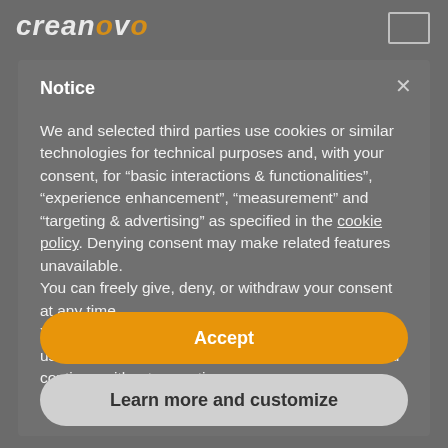creanevo
Notice
We and selected third parties use cookies or similar technologies for technical purposes and, with your consent, for “basic interactions & functionalities”, “experience enhancement”, “measurement” and “targeting & advertising” as specified in the cookie policy. Denying consent may make related features unavailable.
You can freely give, deny, or withdraw your consent at any time.
You can consent to the use of such technologies by using the “Accept” button. By closing this notice, you continue without accepting.
Accept
Learn more and customize